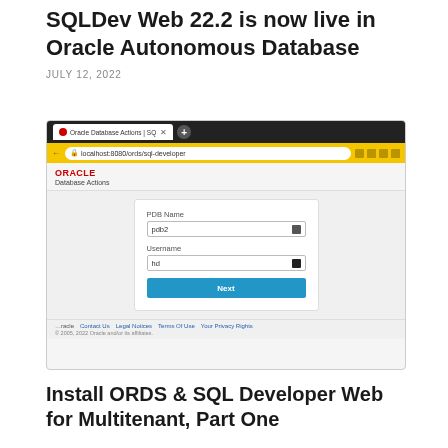SQLDev Web 22.2 is now live in Oracle Autonomous Database
JULY 12, 2022
[Figure (screenshot): Browser screenshot showing Oracle Database Actions SQL Developer Web login page with PDB Name field set to 'pdb2', Username field set to 'hd', and a blue Next button. The browser address bar shows localhost:8080/ords/sql-developer on a yellow background.]
Install ORDS & SQL Developer Web for Multitenant, Part One